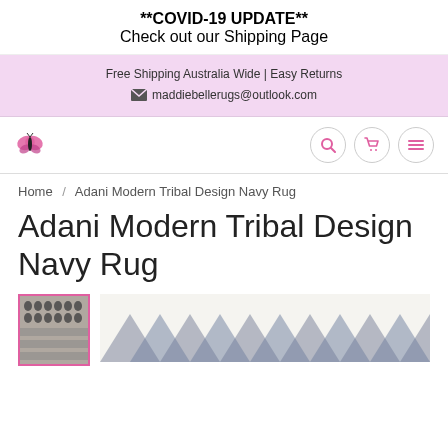**COVID-19 UPDATE** Check out our Shipping Page
Free Shipping Australia Wide | Easy Returns
maddiebellerugs@outlook.com
[Figure (logo): Pink butterfly logo for Maddie Belle Rugs]
Home / Adani Modern Tribal Design Navy Rug
Adani Modern Tribal Design Navy Rug
[Figure (photo): Thumbnail and main product image of Adani Modern Tribal Design Navy Rug showing geometric triangle pattern in navy/grey]